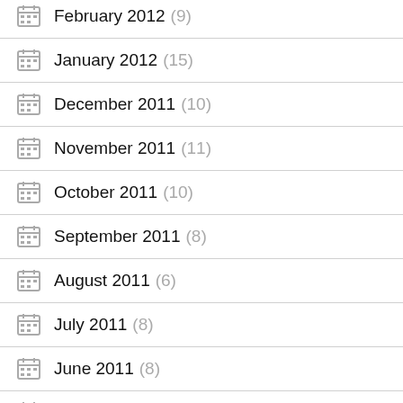February 2012 (9)
January 2012 (15)
December 2011 (10)
November 2011 (11)
October 2011 (10)
September 2011 (8)
August 2011 (6)
July 2011 (8)
June 2011 (8)
May 2011 (8)